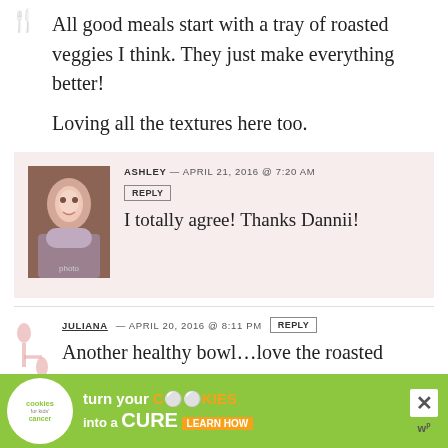All good meals start with a tray of roasted veggies I think. They just make everything better!
Loving all the textures here too.
ASHLEY — APRIL 21, 2016 @ 7:20 AM
I totally agree! Thanks Dannii!
JULIANA — APRIL 20, 2016 @ 8:11 PM
Another healthy bowl…love the roasted potatoes and yes, quinoa…looks delicious
[Figure (other): Cookies for Kids Cancer advertisement banner: green background, white circle logo with 'cookies for kids cancer', text 'turn your COOKIES into a CURE LEARN HOW']